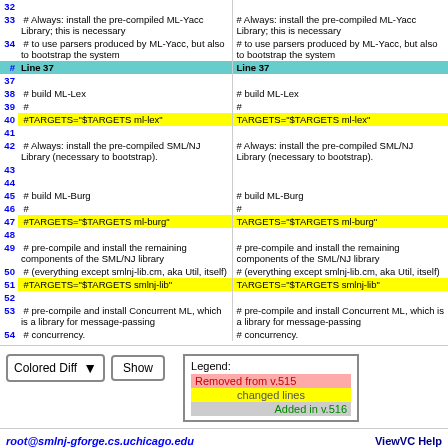| # | Line 37 | Line 37 |
| --- | --- | --- |
| 32 |  |  |
| 33 | # Always: install the pre-compiled ML-Yacc Library; this is necessary | # Always: install the pre-compiled ML-Yacc Library; this is necessary |
| 34 | # to use parsers produced by ML-Yacc, but also to bootstrap the system | # to use parsers produced by ML-Yacc, but also to bootstrap the system |
| 37 |  |  |
| 38 | # build ML-Lex | # build ML-Lex |
| 39 | # | # |
| 40 | #TARGETS="$TARGETS ml-lex" | TARGETS="$TARGETS ml-lex" |
| 41 |  |  |
| 42 | # Always: install the pre-compiled SML/NJ Library (necessary to bootstrap). | # Always: install the pre-compiled SML/NJ Library (necessary to bootstrap). |
| 43 |  |  |
| 44 |  |  |
| 45 | # build ML-Burg | # build ML-Burg |
| 46 | # | # |
| 47 | #TARGETS="$TARGETS ml-burg" | TARGETS="$TARGETS ml-burg" |
| 48 |  |  |
| 49 | # pre-compile and install the remaining components of the SML/NJ library | # pre-compile and install the remaining components of the SML/NJ library |
| 50 | # (everything except smlnj-lib.cm, aka Util, itself) | # (everything except smlnj-lib.cm, aka Util, itself) |
| 51 | #TARGETS="$TARGETS smlnj-lib" | TARGETS="$TARGETS smlnj-lib" |
| 52 |  |  |
| 53 | # pre-compile and install Concurrent ML, which is a library for message-passing | # pre-compile and install Concurrent ML, which is a library for message-passing |
| 54 | # concurrency. | # concurrency. |
Colored Diff | Show
Legend: Removed from v.515 | changed lines | Added in v.516
root@smlnj-gforge.cs.uchicago.edu
ViewVC Help
Powered by ViewVC 1.0.0